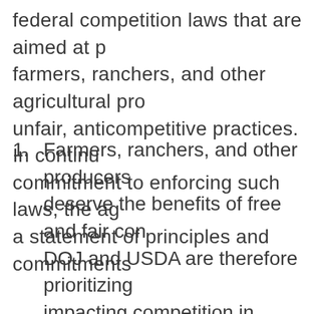federal competition laws that are aimed at protecting farmers, ranchers, and other agricultural producers from unfair, anticompetitive practices.  In continuing our commitment to enforcing such laws, the agencies issue a statement of principles and commitments:
Farmers, ranchers, and other producers deserve the benefits of free and fair competition. DOJ and USDA are therefore prioritizing matters impacting competition in agriculture.
The agencies will develop an accessible process for agricultural producers to submit tips about potential violations of the antitrust laws or Packers and Stockyards Act.